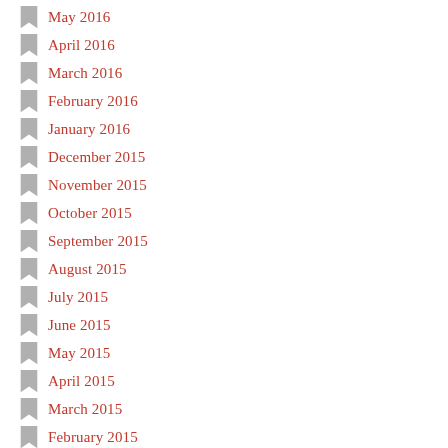May 2016
April 2016
March 2016
February 2016
January 2016
December 2015
November 2015
October 2015
September 2015
August 2015
July 2015
June 2015
May 2015
April 2015
March 2015
February 2015
January 2015
December 2014